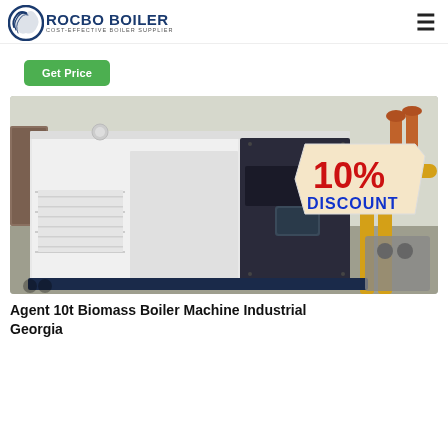ROCBO BOILER — COST-EFFECTIVE BOILER SUPPLIER
Get Price
[Figure (photo): Industrial biomass boiler machine installed in a facility, large white cabinet-style unit with control panel and yellow gas pipes visible. A '10% DISCOUNT' badge overlaid in top-right corner.]
Agent 10t Biomass Boiler Machine Industrial Georgia